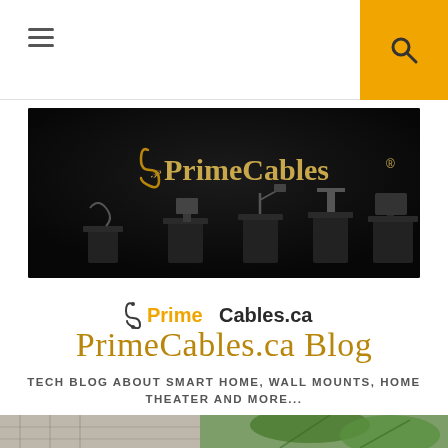Navigation bar with hamburger menu and search icon
[Figure (photo): PrimeCables banner image showing the brand logo in gold text on a dark background with various cable and electronics products displayed on pedestals]
[Figure (logo): PrimeCables.ca logo with stylized S-shaped cable icon in dark gray, 'Prime' in orange and 'Cables.ca' in dark gray text]
PrimeCables.ca Blog
TECH BLOG ABOUT SMART HOME, WALL MOUNTS, HOME THEATER AND MORE...
[Figure (photo): Partial bottom image showing a person in a plaid shirt and green plant leaves]